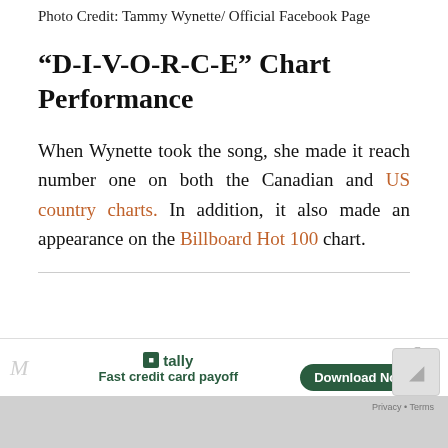Photo Credit: Tammy Wynette/ Official Facebook Page
“D-I-V-O-R-C-E” Chart Performance
When Wynette took the song, she made it reach number one on both the Canadian and US country charts. In addition, it also made an appearance on the Billboard Hot 100 chart.
[Figure (other): Advertisement banner for Tally app - Fast credit card payoff with Download Now button]
Privacy • Terms